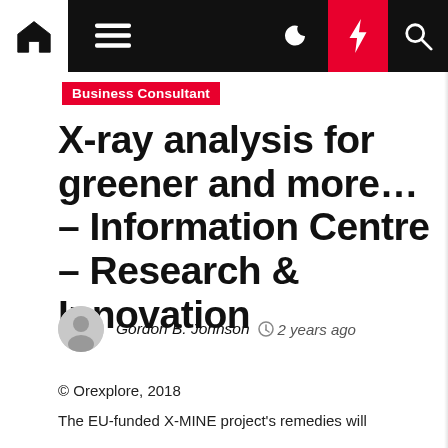Business Consultant
X-ray analysis for greener and more… – Information Centre – Research & Innovation
Gordon B. Johnson  2 years ago
© Orexplore, 2018
The EU-funded X-MINE project's remedies will